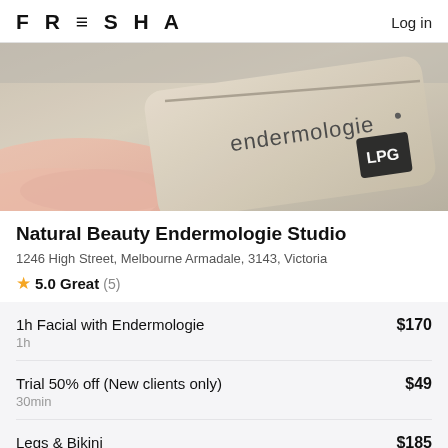FRESHA  Log in
[Figure (photo): Photo of an endermologie treatment bag/pouch branded with 'endermologie' text and LPG logo in black square, with pink fabric in background]
Natural Beauty Endermologie Studio
1246 High Street, Melbourne Armadale, 3143, Victoria
5.0 Great (5)
1h Facial with Endermologie  $170
1h
Trial 50% off (New clients only)  $49
30min
Legs & Bikini  $185